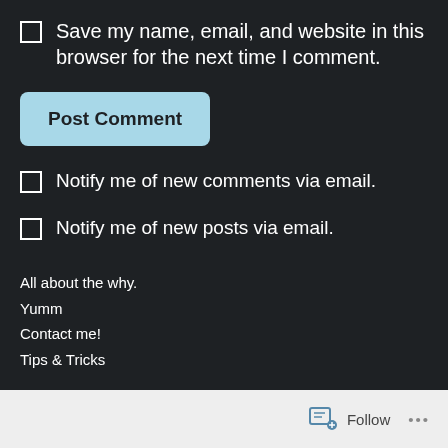Save my name, email, and website in this browser for the next time I comment.
[Figure (other): Post Comment button (light blue rounded button)]
Notify me of new comments via email.
Notify me of new posts via email.
All about the why.
Yumm
Contact me!
Tips & Tricks
[Figure (other): Instagram and Facebook social icons]
Follow ...